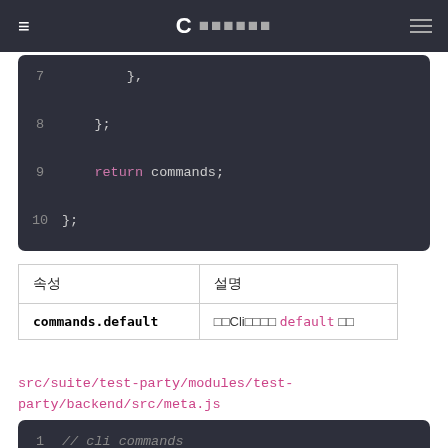≡  C ■■■■■■
[Figure (screenshot): Code block showing lines 7-10: lines 7 },  8 };  9 return commands;  10 };]
| 속성 | 설명 |
| --- | --- |
| commands.default | □□Cli□□□□ default □□ |
src/suite/test-party/modules/test-party/backend/src/meta.js
[Figure (screenshot): Code block showing lines 1-3: 1 // cli commands  2 const cliCommands = require('./config/  3 ...]